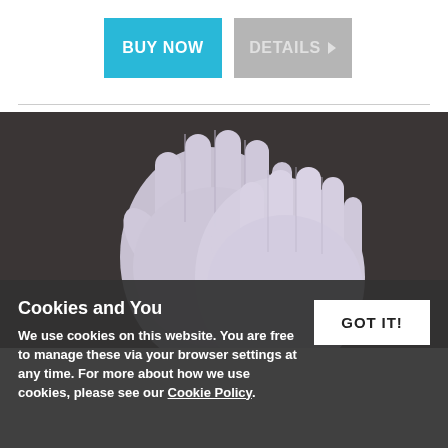[Figure (screenshot): Two buttons: a cyan 'BUY NOW' button and a grey 'DETAILS ▶' button]
[Figure (photo): White cotton gloves on dark background]
Cookies and You
We use cookies on this website. You are free to manage these via your browser settings at any time. For more about how we use cookies, please see our Cookie Policy.
GOT IT!